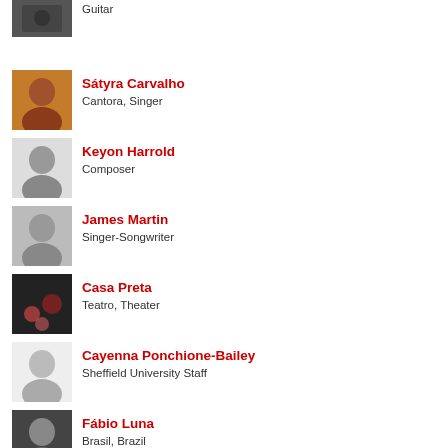Guitar
Sátyra Carvalho
Cantora, Singer
Keyon Harrold
Composer
James Martin
Singer-Songwriter
Casa Preta
Teatro, Theater
Cayenna Ponchione-Bailey
Sheffield University Staff
Fábio Luna
Brasil, Brazil
Raymundo Sodré